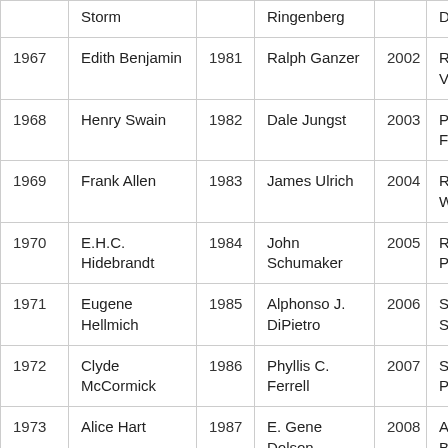| Year | Name | Year | Name | Year | Name (partial) |
| --- | --- | --- | --- | --- | --- |
|  | Storm |  | Ringenberg |  | D |
| 1967 | Edith Benjamin | 1981 | Ralph Ganzer | 2002 | R... V... |
| 1968 | Henry Swain | 1982 | Dale Jungst | 2003 | Pa... Fi... |
| 1969 | Frank Allen | 1983 | James Ulrich | 2004 | Ri... W... |
| 1970 | E.H.C. Hidebrandt | 1984 | John Schumaker | 2005 | Ra... Pi... |
| 1971 | Eugene Hellmich | 1985 | Alphonso J. DiPietro | 2006 | Sa... Sp... |
| 1972 | Clyde McCormick | 1986 | Phyllis C. Ferrell | 2007 | Su... Pi... |
| 1973 | Alice Hart | 1987 | E. Gene Dolson | 2008 | A... B... |